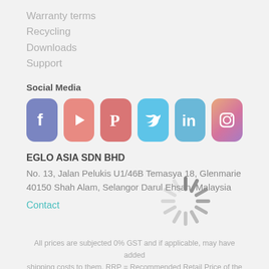Warranty terms
Recycling
Downloads
Support
Social Media
[Figure (illustration): Social media icons: Facebook, YouTube/Play, Pinterest, Twitter, LinkedIn, Instagram in rounded square buttons]
EGLO ASIA SDN BHD
No. 13, Jalan Pelukis U1/46B Temasya 18, Glenmarie 40150 Shah Alam, Selangor Darul Ehsan, Malaysia
Contact
All prices are subjected 0% GST and if applicable, may have added shipping costs to them. RRP = Recommended Retail Price of the Manufacturer.